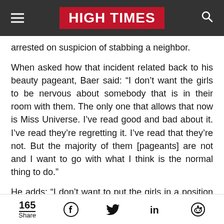HIGH TIMES
arrested on suspicion of stabbing a neighbor.
When asked how that incident related back to his beauty pageant, Baer said: “I don’t want the girls to be nervous about somebody that is in their room with them. The only one that allows that now is Miss Universe. I’ve read good and bad about it. I’ve read they’re regretting it. I’ve read that they’re not. But the majority of them [pageants] are not and I want to go with what I think is the normal thing to do.”
He adds: “I don’t want to put the girls in a position that they feel uncomfortable, because there are going
165 Share